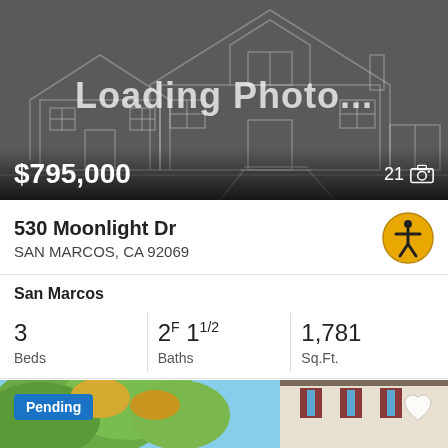[Figure (photo): Loading photo placeholder with house outline silhouette on dark grey background]
$795,000
21 📷
530 Moonlight Dr
SAN MARCOS, CA 92069
San Marcos
3 Beds
2F 11/2 Baths
1,781 Sq.Ft.
Century 21 Award
[Figure (photo): Pending listing photo showing house exterior with trees in foreground, blue sky, partial view of house with dark shutters]